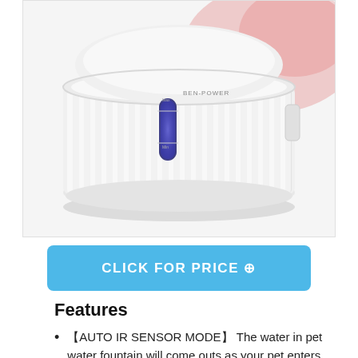[Figure (photo): White cylindrical pet water fountain with ribbed exterior, a blue illuminated water level indicator window on the front, branded 'BEN-POWER', and a red glow/shadow at the top right. The device sits on a white/light grey background.]
CLICK FOR PRICE ⊕
Features
【AUTO IR SENSOR MODE】 The water in pet water fountain will come outs as your pet enters into the sensing area (sensing area: 100% sensing distance 4ft) is not